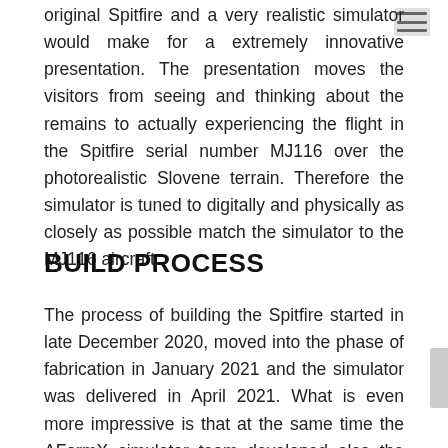original Spitfire and a very realistic simulator would make for a extremely innovative presentation. The presentation moves the visitors from seeing and thinking about the remains to actually experiencing the flight in the Spitfire serial number MJ116 over the photorealistic Slovene terrain. Therefore the simulator is tuned to digitally and physically as closely as possible match the simulator to the MJ116 aircraft.
BUILD PROCESS
The process of building the Spitfire started in late December 2020, moved into the phase of fabrication in January 2021 and the simulator was delivered in April 2021. What is even more impressive is that at the same time the AFormX simulator team developed also the Velis